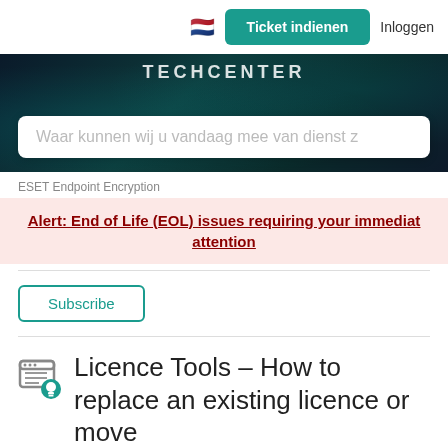[Figure (screenshot): Navigation bar with Dutch flag emoji, 'Ticket indienen' teal button, and 'Inloggen' text link]
[Figure (screenshot): Dark teal hero banner with 'TECHCENTER' text and a white search bar reading 'Waar kunnen wij u vandaag mee van dienst z']
ESET Endpoint Encryption
Alert: End of Life (EOL) issues requiring your immediate attention
Subscribe
Licence Tools – How to replace an existing licence or move users between licences